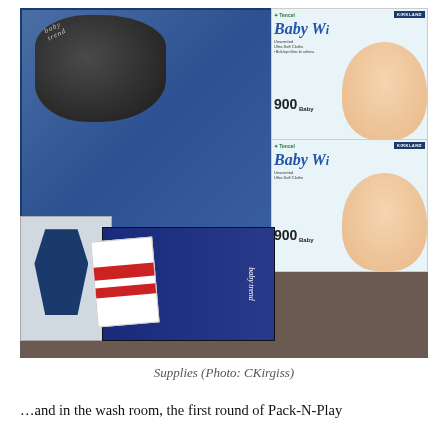[Figure (photo): A photograph showing baby supplies on a carpeted floor: a dark bag on top of a blue box, two Kirkland Tencel Baby Wipes boxes (900 count each) stacked on the right, a Baby Trend box with a sticker in the lower center-left, and a stroller box on the lower left.]
Supplies (Photo: CKirgiss)
…and in the wash room, the first round of Pack-N-Play